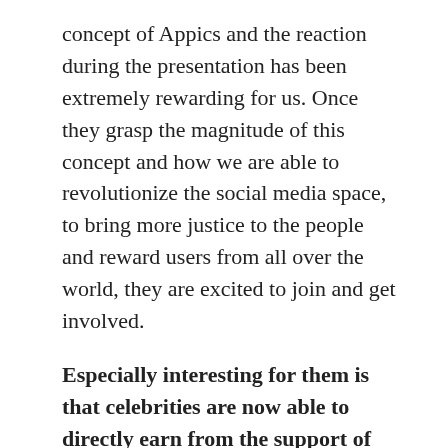concept of Appics and the reaction during the presentation has been extremely rewarding for us. Once they grasp the magnitude of this concept and how we are able to revolutionize the social media space, to bring more justice to the people and reward users from all over the world, they are excited to join and get involved.
Especially interesting for them is that celebrities are now able to directly earn from the support of their fans, and that their audience for the first time also gets rewarded for their support. The reaction we got has been pure excitement and we've been growing our network of support continuously.
Some of you know, for the past years we've been on a global tour, establishing our Ambassador network, growing our team and bringing on board key